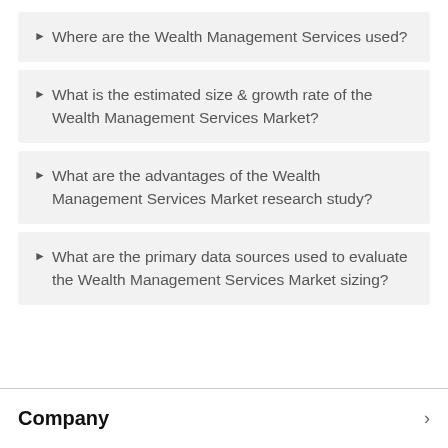Where are the Wealth Management Services used?
What is the estimated size & growth rate of the Wealth Management Services Market?
What are the advantages of the Wealth Management Services Market research study?
What are the primary data sources used to evaluate the Wealth Management Services Market sizing?
Company